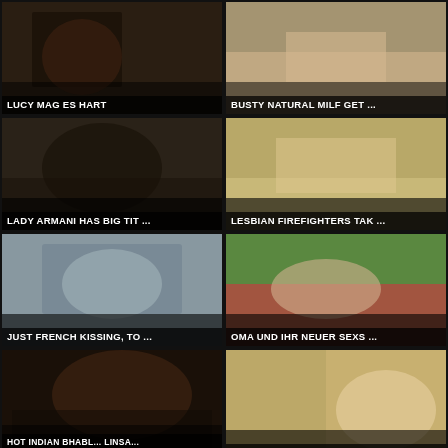[Figure (photo): Video thumbnail 1 with label LUCY MAG ES HART]
LUCY MAG ES HART
[Figure (photo): Video thumbnail 2 with label BUSTY NATURAL MILF GET...]
BUSTY NATURAL MILF GET...
[Figure (photo): Video thumbnail 3 with label LADY ARMANI HAS BIG TIT...]
LADY ARMANI HAS BIG TIT...
[Figure (photo): Video thumbnail 4 with label LESBIAN FIREFIGHTERS TAK...]
LESBIAN FIREFIGHTERS TAK...
[Figure (photo): Video thumbnail 5 with label JUST FRENCH KISSING, TO...]
JUST FRENCH KISSING, TO...
[Figure (photo): Video thumbnail 6 with label OMA UND IHR NEUER SEXS...]
OMA UND IHR NEUER SEXS...
[Figure (photo): Video thumbnail 7 with label HOT INDIAN BHABL... LINSA... and Copyright reserved by Digifilm Technologies Ltd, UK.]
HOT INDIAN BHABL... LINSA...
[Figure (photo): Video thumbnail 8 with label DIE HEISSE KELLNERIN DUR...]
DIE HEISSE KELLNERIN DUR...